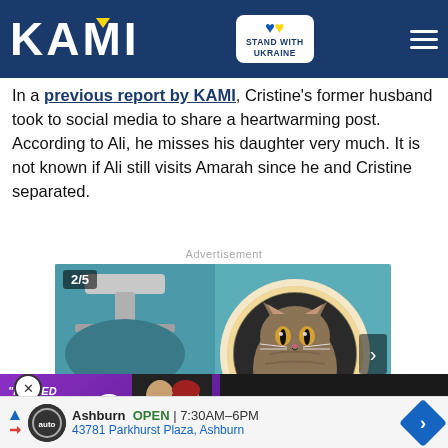KAMI — Stand with Ukraine
In a previous report by KAMI, Cristine's former husband took to social media to share a heartwarming post. According to Ali, he misses his daughter very much. It is not known if Ali still visits Amarah since he and Cristine separated.
Advertisement
[Figure (photo): Advertisement image showing a cat peeking out of a round hole (like a cat tunnel or drum), with a faucet/sink visible in the background. Badge showing 2/5. Next arrow on right side. Video promo strip at bottom showing a couple and text 'INVITED ME TO BE HER BOYFRIEND'. Also shows 'oid Having A reeds' text overlay.]
[Figure (infographic): Bottom advertisement bar for an auto dealership in Ashburn. Shows: play/skip arrow icons, circular auto logo, 'Ashburn OPEN 7:30AM-6PM', '43781 Parkhurst Plaza, Ashburn', blue navigation diamond icon.]